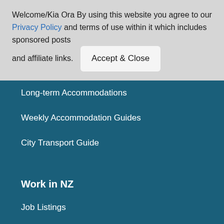Welcome/Kia Ora By using this website you agree to our Privacy Policy and terms of use within it which includes sponsored posts and affiliate links.
Accept & Close
Long-term Accommodations
Weekly Accommodation Guides
City Transport Guide
Work in NZ
Job Listings
Working Holiday Visa
Work Tips & Essentials
Job Search Tips
Popular Backpacker Jobs